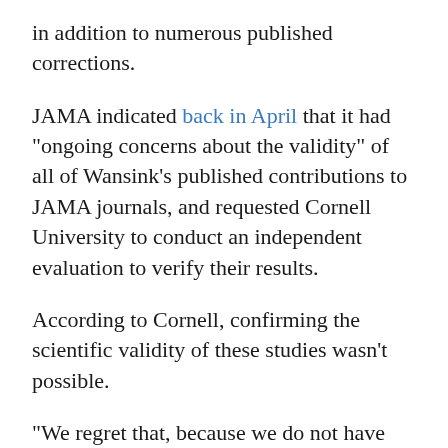in addition to numerous published corrections.
JAMA indicated back in April that it had "ongoing concerns about the validity" of all of Wansink's published contributions to JAMA journals, and requested Cornell University to conduct an independent evaluation to verify their results.
According to Cornell, confirming the scientific validity of these studies wasn't possible.
"We regret that, because we do not have access to the original data, we cannot assure you that the results of the studies are valid," the university informed JAMA, and without more to go on, the publisher decided to retract all of the research.